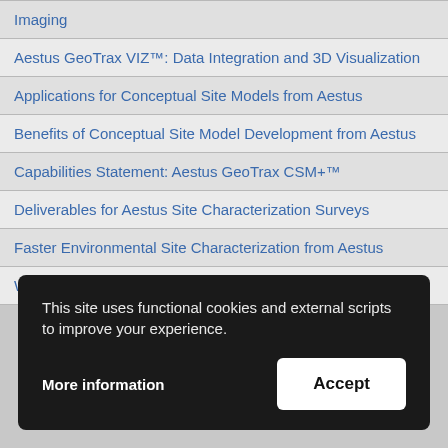| Imaging |
| Aestus GeoTrax VIZ™: Data Integration and 3D Visualization |
| Applications for Conceptual Site Models from Aestus |
| Benefits of Conceptual Site Model Development from Aestus |
| Capabilities Statement: Aestus GeoTrax CSM+™ |
| Deliverables for Aestus Site Characterization Surveys |
| Faster Environmental Site Characterization from Aestus |
| Why Choose Aestus, LLC? |
This site uses functional cookies and external scripts to improve your experience.
More information
Accept